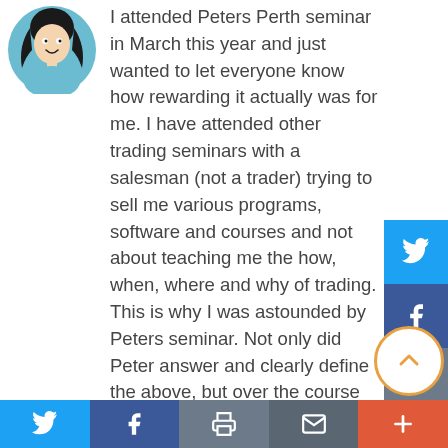[Figure (illustration): Circular avatar illustration of a woman with dark hair on a light blue background]
I attended Peters Perth seminar in March this year and just wanted to let everyone know how rewarding it actually was for me. I have attended other trading seminars with a salesman (not a trader) trying to sell me various programs, software and courses and not about teaching me the how, when, where and why of trading. This is why I was astounded by Peters seminar. Not only did Peter answer and clearly define the above, but over the course of the 6 hour seminar I learnt a huge amount. It helped me answer questions to my self of why I want to trade and what I want to achieve through trading and also cleared up grey areas for me. The seminar was well thought out and we moved though lots